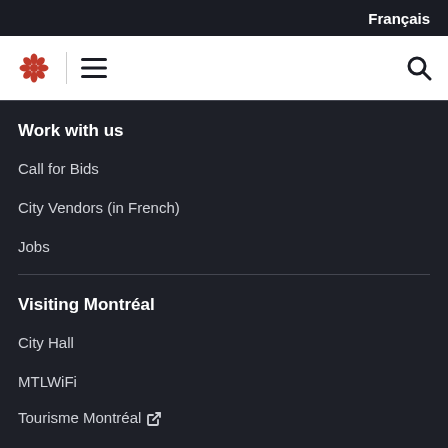Français
[Figure (logo): Ville de Montréal floral logo in red, hamburger menu icon, and search icon in white navigation bar]
Work with us
Call for Bids
City Vendors (in French)
Jobs
Visiting Montréal
City Hall
MTLWiFi
Tourisme Montréal ↗